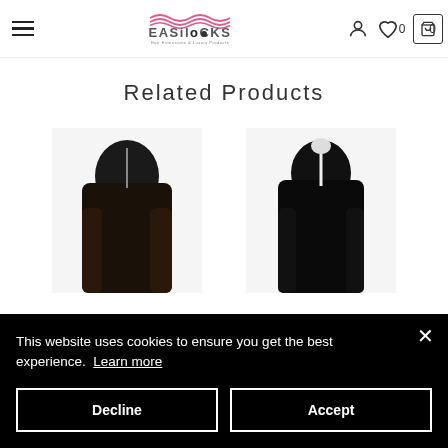Easilocks — Hair Extensions & Luxury Products — navigation header with hamburger menu, logo, user icon, wishlist (0), and cart (0)
Related Products
[Figure (photo): Two wig/hair extension product photos side by side on white background — left shows dark brown/black long straight hair piece, right shows dark black long straight hair piece]
This website uses cookies to ensure you get the best experience. Learn more
Decline
Accept
Chocolate/Darkest Brown
£69.99